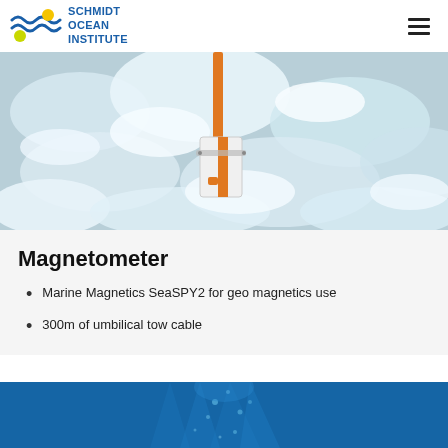SCHMIDT OCEAN INSTITUTE
[Figure (photo): Orange magnetometer instrument being held over choppy ocean water with white foam and waves visible]
Magnetometer
Marine Magnetics SeaSPY2 for geo magnetics use
300m of umbilical tow cable
[Figure (photo): Underwater photo with blue water and light streaming down, visible bubbles]